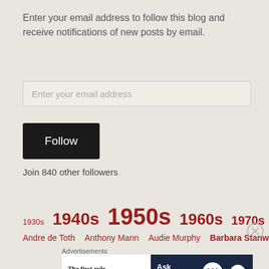Enter your email address to follow this blog and receive notifications of new posts by email.
Enter your email address
Follow
Join 840 other followers
1930s  1940s  1950s  1960s  1970s  Alan Ladd
Andre de Toth  Anthony Mann  Audie Murphy  Barbara Stanwyck
Advertisements
[Figure (screenshot): Advertisement banner: left side shows 'The first rule of Startup School?' text on white background; right side shows 'Ask questions.' text on dark navy background with WordPress and another logo]